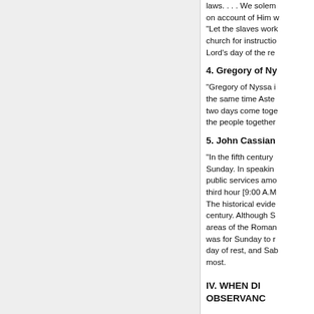laws. . . . We solemn on account of Him w "Let the slaves work church for instructio Lord's day of the re
4. Gregory of Ny
"Gregory of Nyssa i the same time Aste two days come toge the people together
5. John Cassian
"In the fifth century Sunday. In speakin public services amo third hour [9:00 A.M The historical evide century. Although S areas of the Roman was for Sunday to r day of rest, and Sab most.
IV. WHEN DI OBSERVANC